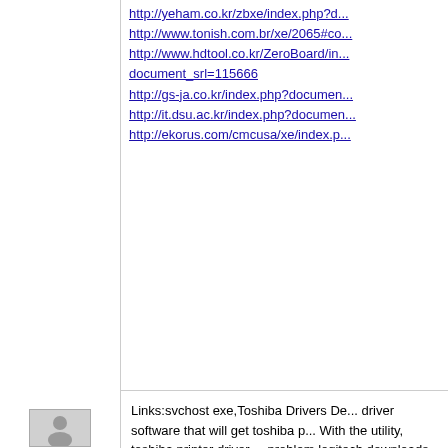http://yeham.co.kr/zbxe/index.php?d...
http://www.tonish.com.br/xe/2065#co...
http://www.hdtool.co.kr/ZeroBoard/in... document_srl=115666
http://gs-ja.co.kr/index.php?documen...
http://it.dsu.ac.kr/index.php?documen...
http://ekorus.com/cmcusa/xe/index.p...
QWfgno5301
2015.03.26 05:24
Links:svchost exe,Toshiba Drivers De... driver software that will get toshiba p... With the utility, toshiba printer driver ... problem.logitech downloads focus on... logitech products. how to update driv... the hardware on your computer, the d... which ones have more recent version... file recovery is a perfect recovery me... help you recover any deleted contact... videos from android devices as well a... easily.When there is a need to conve... be the perfect selection, which is cap... mp4, and between other formats. com... make video conversion simple and sa... recovery for outlook express is not...